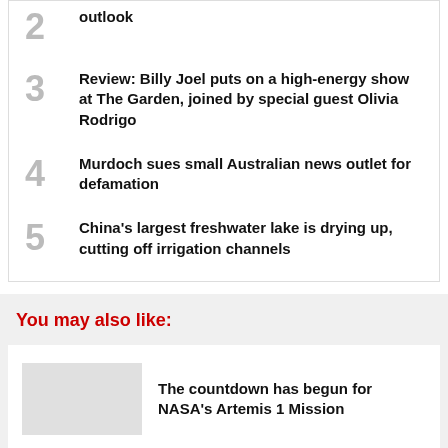2 outlook
3 Review: Billy Joel puts on a high-energy show at The Garden, joined by special guest Olivia Rodrigo
4 Murdoch sues small Australian news outlet for defamation
5 China's largest freshwater lake is drying up, cutting off irrigation channels
You may also like:
The countdown has begun for NASA's Artemis 1 Mission